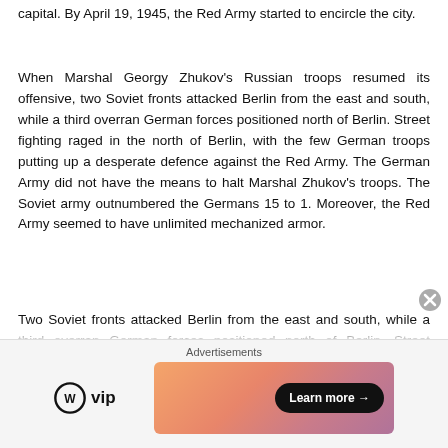capital. By April 19, 1945, the Red Army started to encircle the city.
When Marshal Georgy Zhukov's Russian troops resumed its offensive, two Soviet fronts attacked Berlin from the east and south, while a third overran German forces positioned north of Berlin. Street fighting raged in the north of Berlin, with the few German troops putting up a desperate defence against the Red Army. The German Army did not have the means to halt Marshal Zhukov's troops. The Soviet army outnumbered the Germans 15 to 1. Moreover, the Red Army seemed to have unlimited mechanized armor.
Two Soviet fronts attacked Berlin from the east and south, while a third overran German forces positioned north of Berlin. Street fighting raged in the north of Berlin, with the fe…
[Figure (other): Advertisement banner with WordPress VIP logo on the left and a colorful gradient ad banner with a 'Learn more →' button on the right. Labeled 'Advertisements' at the top.]